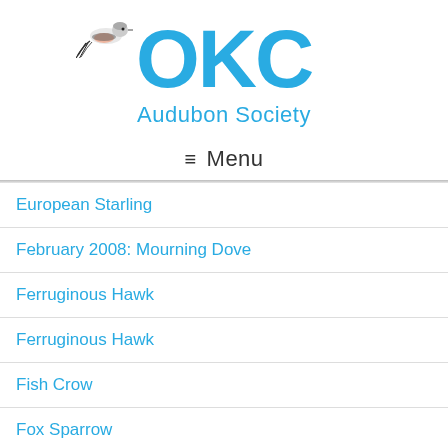[Figure (logo): OKC Audubon Society logo with a scissor-tailed flycatcher bird perched on the letter O, with large blue OKC text and 'Audubon Society' subtitle in blue]
≡ Menu
European Starling
February 2008: Mourning Dove
Ferruginous Hawk
Ferruginous Hawk
Fish Crow
Fox Sparrow